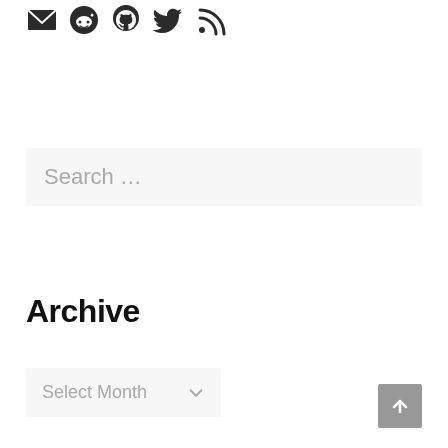[Figure (infographic): Row of social/app icons: email envelope, Reddit alien, GitHub cat, Twitter bird, RSS feed]
Search …
Archive
Select Month